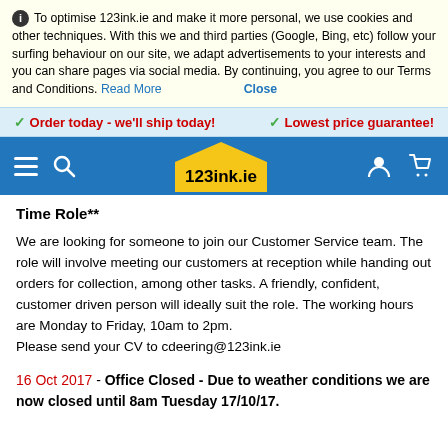To optimise 123ink.ie and make it more personal, we use cookies and other techniques. With this we and third parties (Google, Bing, etc) follow your surfing behaviour on our site, we adapt advertisements to your interests and you can share pages via social media. By continuing, you agree to our Terms and Conditions. Read More  Close
Order today - we'll ship today!   Lowest price guarantee!
[Figure (logo): 123ink.ie logo on blue navigation bar with hamburger menu, search icon, user icon, and cart icon]
Time Role**
We are looking for someone to join our Customer Service team. The role will involve meeting our customers at reception while handing out orders for collection, among other tasks. A friendly, confident, customer driven person will ideally suit the role. The working hours are Monday to Friday, 10am to 2pm.
Please send your CV to cdeering@123ink.ie
16 Oct 2017 - Office Closed - Due to weather conditions we are now closed until 8am Tuesday 17/10/17.